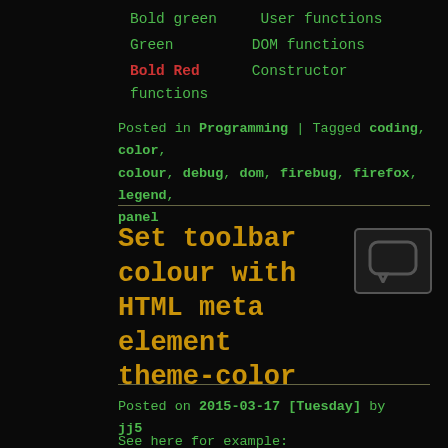Bold green    User functions
Green         DOM functions
Bold Red      Constructor functions
Posted in Programming | Tagged coding, color, colour, debug, dom, firebug, firefox, legend, panel
Set toolbar colour with HTML meta element theme-color
[Figure (illustration): Small thumbnail icon showing a chat/comment bubble outline in dark grey on dark background]
Posted on 2015-03-17 [Tuesday] by jj5
See here for example:
<meta name="theme-color" content="#12345